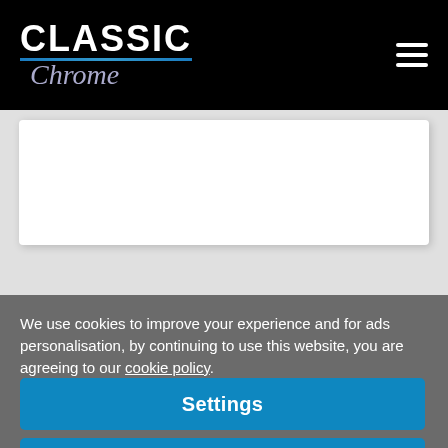[Figure (logo): Classic Chrome logo: white bold 'CLASSIC' text with blue underline, italic script 'Chrome' below in silver-blue, on black background]
[Figure (other): Hamburger menu icon (three horizontal white lines) on black navbar]
[Figure (other): White card/content area on light grey background]
We use cookies to improve your experience and for ads personalisation, by continuing to use this website, you are agreeing to our cookie policy.
Settings
Accept all